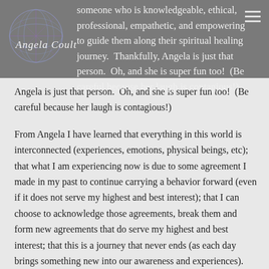[Figure (logo): Angela Coulter logo with geometric blue/purple sphere icon and cursive 'Angela Coulter' signature text on a grey banner header]
someone who is knowledgeable, ethical, professional, empathetic, and empowering to guide them along their spiritual healing journey.  Thankfully, Angela is just that person.  Oh, and she is super fun too!  (Be careful because her laugh is contagious!)
From Angela I have learned that everything in this world is interconnected (experiences, emotions, physical beings, etc); that what I am experiencing now is due to some agreement I made in my past to continue carrying a behavior forward (even if it does not serve my highest and best interest); that I can choose to acknowledge those agreements, break them and form new agreements that do serve my highest and best interest; that this is a journey that never ends (as each day brings something new into our awareness and experiences).